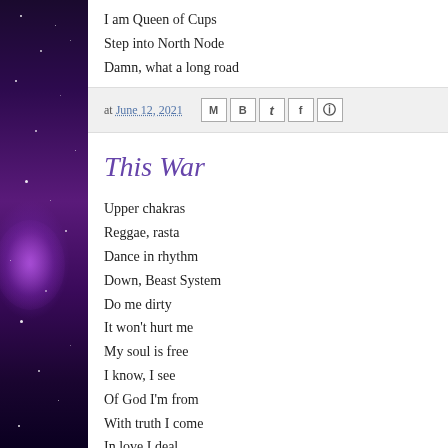I am Queen of Cups
Step into North Node
Damn, what a long road
at June 12, 2021
This War
Upper chakras
Reggae, rasta
Dance in rhythm
Down, Beast System
Do me dirty
It won't hurt me
My soul is free
I know, I see
Of God I'm from
With truth I come
In love I deal
With light I heal
My heart it feels
This you can't steal